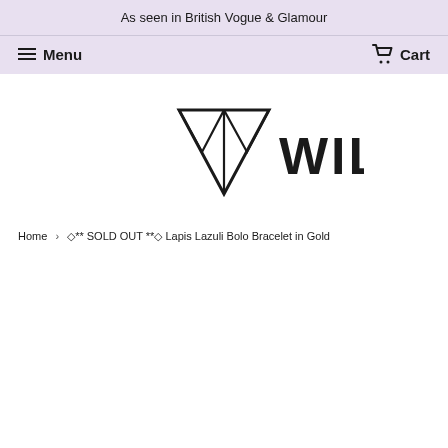As seen in British Vogue & Glamour
Menu  Cart
[Figure (logo): WILDI brand logo with geometric diamond/triangle W symbol on left and WILDI text on right in bold sans-serif font]
Home > ◇** SOLD OUT **◇ Lapis Lazuli Bolo Bracelet in Gold